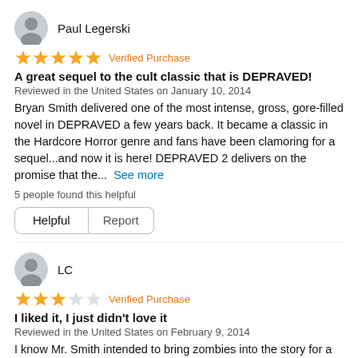Paul Legerski
★★★★★ Verified Purchase
A great sequel to the cult classic that is DEPRAVED!
Reviewed in the United States on January 10, 2014
Bryan Smith delivered one of the most intense, gross, gore-filled novel in DEPRAVED a few years back. It became a classic in the Hardcore Horror genre and fans have been clamoring for a sequel...and now it is here! DEPRAVED 2 delivers on the promise that the...  See more
5 people found this helpful
Helpful   Report
LC
★★★☆☆ Verified Purchase
I liked it, I just didn't love it
Reviewed in the United States on February 9, 2014
I know Mr. Smith intended to bring zombies into the story for a purpose (as he explains in the book), but I just didn't like